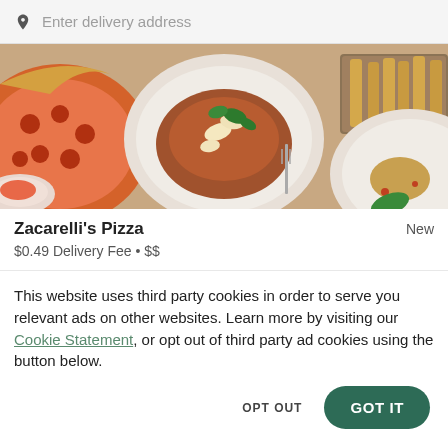Enter delivery address
[Figure (photo): Food photograph showing pizza, a pasta dish with basil and shaved parmesan, breadsticks, and other Italian food items on plates viewed from above]
Zacarelli's Pizza
New
$0.49 Delivery Fee • $$
This website uses third party cookies in order to serve you relevant ads on other websites. Learn more by visiting our Cookie Statement, or opt out of third party ad cookies using the button below.
OPT OUT
GOT IT